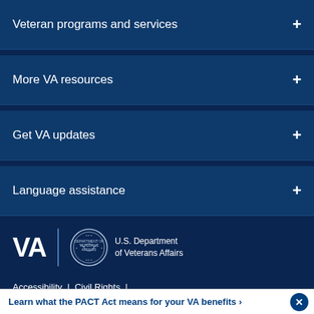Veteran programs and services +
More VA resources +
Get VA updates +
Language assistance +
[Figure (logo): VA logo — 'VA' bold letters, vertical divider, circular seal, text 'U.S. Department of Veterans Affairs']
Accessibility | Civil Rights | Freedom of Information Act (FOIA) |
Learn what the PACT Act means for your VA benefits >